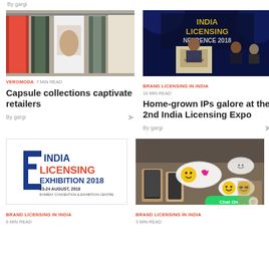By gargi
[Figure (photo): Clothing rack with red, camouflage and white t-shirts with prints, fashion retail display]
[Figure (photo): India Licensing Conference 2018 stage backdrop with speaker at podium]
VEROMODA 7 MIN READ
BRAND LICENSING IN INDIA 10 MIN READ
Capsule collections captivate retailers
Home-grown IPs galore at the 2nd India Licensing Expo
By gargi
By gargi
[Figure (logo): India Licensing Exhibition 2018 logo, 23-24 August 2018, Bombay Convention & Exhibition Centre]
[Figure (photo): Group of people using smartphones on a table with emoji speech bubble graphics overlaid, Chat On WhatsApp button]
BRAND LICENSING IN INDIA 6 MIN READ
BRAND LICENSING IN INDIA 3 MIN READ